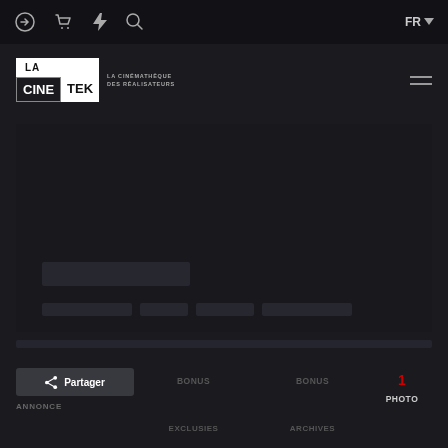Navigation bar with login, cart, flash, search icons and FR language selector
[Figure (logo): LA CINETEK - La Cinémathèque des Réalisateurs logo in white/black blocks]
[Figure (screenshot): Dark video player area with loading placeholders for title and metadata]
[Figure (screenshot): Progress bar placeholder]
Partager | BONUS EXCLUSIES | BONUS ARCHIVES | 1 PHOTO